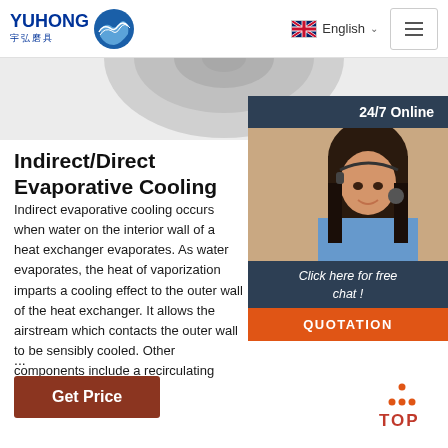YUHONG 宇弘磨具 | English | Navigation
[Figure (photo): Circular grinding/abrasive product photo, partially visible at top of page]
[Figure (photo): 24/7 Online chat overlay with customer service representative wearing headset, with 'Click here for free chat!' and QUOTATION button]
Indirect/Direct Evaporative Cooling
Indirect evaporative cooling occurs when water on the interior wall of a heat exchanger evaporates. As water evaporates, the heat of vaporization imparts a cooling effect to the outer wall of the heat exchanger. It allows the airstream which contacts the outer wall to be sensibly cooled. Other components include a recirculating ...
[Figure (other): Get Price button (rust/brown colored)]
[Figure (other): TOP back-to-top button with orange dot triangle icon]